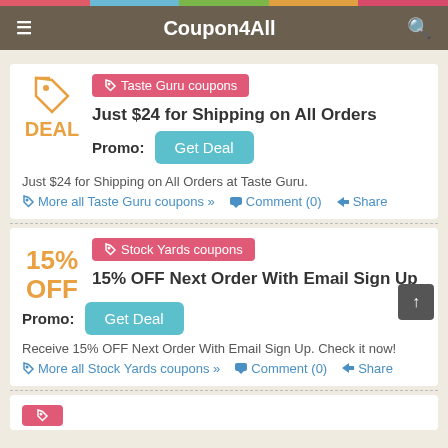Coupon4All
Just $24 for Shipping on All Orders
Taste Guru coupons
Promo: Get Deal
Just $24 for Shipping on All Orders at Taste Guru.
More all Taste Guru coupons »  Comment (0)  Share
15% OFF Next Order With Email Sign Up
Stock Yards coupons
Promo: Get Deal
Receive 15% OFF Next Order With Email Sign Up. Check it now!
More all Stock Yards coupons »  Comment (0)  Share